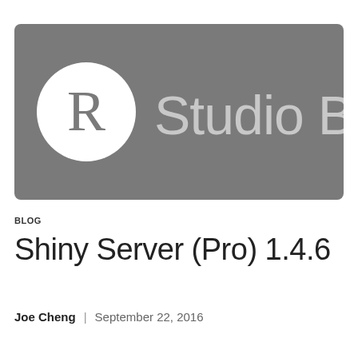[Figure (logo): RStudio Blog logo: dark gray rounded-rectangle background with a white circle containing the letter R on the left, and the text 'Studio Blog' in light gray to the right]
BLOG
Shiny Server (Pro) 1.4.6
Joe Cheng  |  September 22, 2016